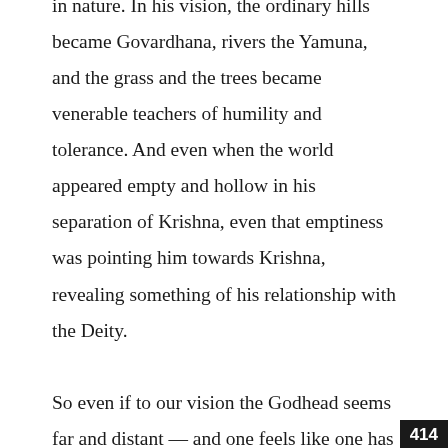in nature. In his vision, the ordinary hills became Govardhana, rivers the Yamuna, and the grass and the trees became venerable teachers of humility and tolerance. And even when the world appeared empty and hollow in his separation of Krishna, even that emptiness was pointing him towards Krishna, revealing something of his relationship with the Deity.

So even if to our vision the Godhead seems far and distant — and one feels like one has been abandoned into the world by a remote Deity — that, too, can teach us something about the Deity and our relationship to the Absolute. Instead of blaming the Deity — perhaps we should look within and ask, Do I have the eyes to see him/her?
414